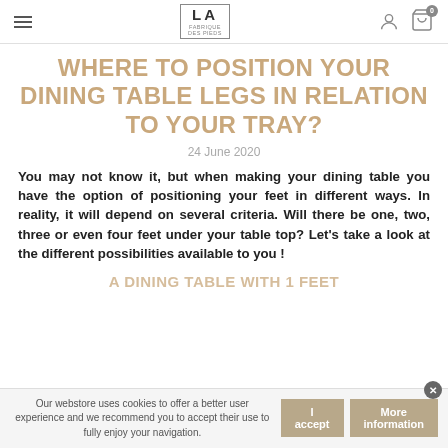LA FABRIQUE DES PIEDS (logo) | hamburger menu | user icon | cart icon (0)
WHERE TO POSITION YOUR DINING TABLE LEGS IN RELATION TO YOUR TRAY?
24 June 2020
You may not know it, but when making your dining table you have the option of positioning your feet in different ways. In reality, it will depend on several criteria. Will there be one, two, three or even four feet under your table top? Let's take a look at the different possibilities available to you !
A DINING TABLE WITH 1 FEET
Our webstore uses cookies to offer a better user experience and we recommend you to accept their use to fully enjoy your navigation.